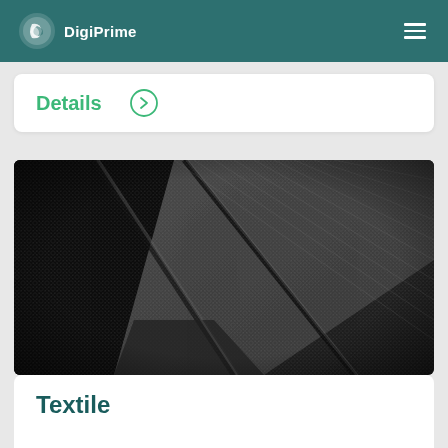DigiPrime
Details
[Figure (photo): Close-up photograph of dark gray textured fabric or textile material, showing woven seat upholstery with diagonal ridges and seams, resembling automotive seat fabric in black and charcoal tones.]
Textile